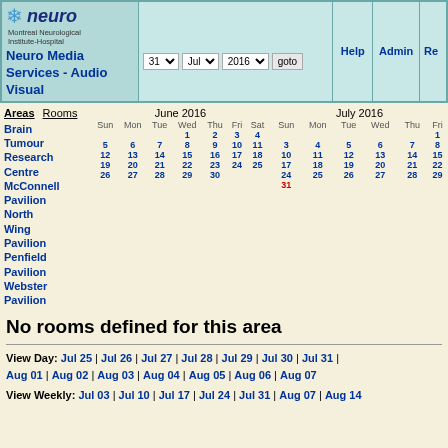Neuro Media Services - Audio Visual
Areas  Rooms
June 2016 calendar: Sun Mon Tue Wed Thu Fri Sat; 1 2 3 4; 5 6 7 8 9 10 11; 12 13 14 15 16 17 18; 19 20 21 22 23 24 25; 26 27 28 29 30
July 2016 calendar: Sun Mon Tue Wed Thu Fri; 3 4 5 6 7 8; 10 11 12 13 14 15; 17 18 19 20 21 22; 24 25 26 27 28 29; 31
Brain Tumour Research Centre
McConnell Pavilion
North Wing Pavilion
Penfield Pavilion
Webster Pavilion
No rooms defined for this area
View Day: Jul 25 | Jul 26 | Jul 27 | Jul 28 | Jul 29 | Jul 30 | Jul 31 | Aug 01 | Aug 02 | Aug 03 | Aug 04 | Aug 05 | Aug 06 | Aug 07
View Weekly: Jul 03 | Jul 10 | Jul 17 | Jul 24 | Jul 31 | Aug 07 | Aug 14